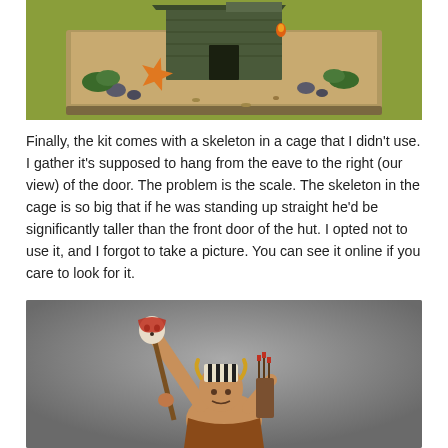[Figure (photo): Painted miniature diorama — a small wooden hut on a sandy base with an orange starfish, small rocks, and green foliage, placed on a yellow-green surface]
Finally, the kit comes with a skeleton in a cage that I didn't use. I gather it's supposed to hang from the eave to the right (our view) of the door. The problem is the scale. The skeleton in the cage is so big that if he was standing up straight he'd be significantly taller than the front door of the hut. I opted not to use it, and I forgot to take a picture. You can see it online if you care to look for it.
[Figure (photo): Close-up of a painted miniature figure — a tribal/shaman character with striped face/hair decoration, holding a staff topped with a skull and red cloth, with a quiver on their back, against a grey background]